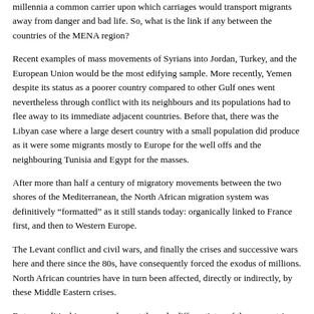millennia a common carrier upon which carriages would transport migrants away from danger and bad life.  So, what is the link if any between the countries of the MENA region?
Recent examples of mass movements of Syrians into Jordan, Turkey, and the European Union would be the most edifying sample.  More recently, Yemen despite its status as a poorer country compared to other Gulf ones went nevertheless through conflict with its neighbours and its populations had to flee away to its immediate adjacent countries.  Before that, there was the Libyan case where a large desert country with a small population did produce as it were some migrants mostly to Europe for the well offs and the neighbouring Tunisia and Egypt for the masses.
After more than half a century of migratory movements between the two shores of the Mediterranean, the North African migration system was definitively “formatted” as it still stands today: organically linked to France first, and then to Western Europe.
The Levant conflict and civil wars, and finally the crises and successive wars here and there since the 80s, have consequently forced the exodus of millions.  North African countries have in turn been affected, directly or indirectly, by these Middle Eastern crises.
But geopolitical issues are also not the only differentiator of these countries and apart from armed conflicts and/or civil unrest, oil and conflict are felt like the main drivers of migration to and from or within the MENA.